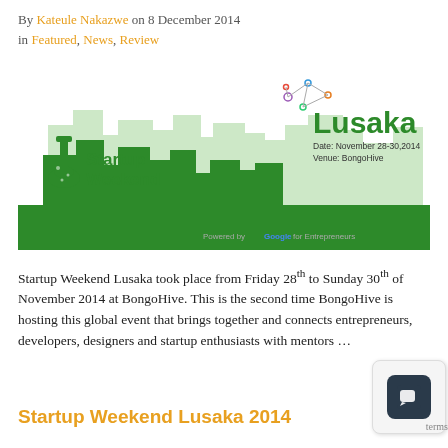By Kateule Nakazwe on 8 December 2014 in Featured, News, Review
[Figure (illustration): Startup Weekend Lusaka promotional image showing green silhouette of cityscape with Startup Weekend logo on left and Lusaka event details (Date: November 28-30, 2014, Venue: BongoHive) on right, powered by Google for Entrepreneurs]
Startup Weekend Lusaka took place from Friday 28th to Sunday 30th of November 2014 at BongoHive. This is the second time BongoHive is hosting this global event that brings together and connects entrepreneurs, developers, designers and startup enthusiasts with mentors …
Startup Weekend Lusaka 2014